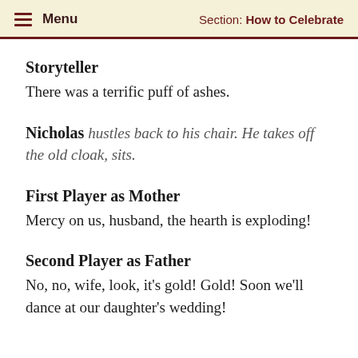Menu  |  Section: How to Celebrate
Storyteller
There was a terrific puff of ashes.
Nicholas
hustles back to his chair. He takes off the old cloak, sits.
First Player as Mother
Mercy on us, husband, the hearth is exploding!
Second Player as Father
No, no, wife, look, it's gold! Gold! Soon we'll dance at our daughter's wedding!